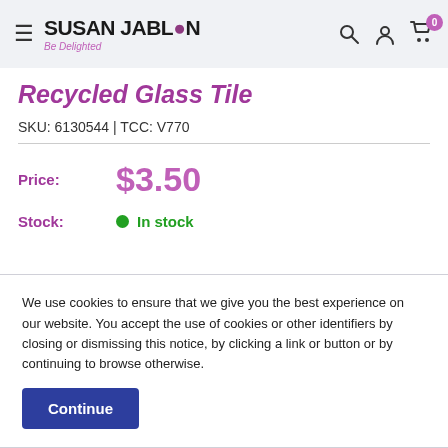Susan Jablon - Be Delighted header with navigation icons
Recycled Glass Tile
SKU: 6130544 | TCC: V770
Price: $3.50
Stock: In stock
We use cookies to ensure that we give you the best experience on our website. You accept the use of cookies or other identifiers by closing or dismissing this notice, by clicking a link or button or by continuing to browse otherwise.